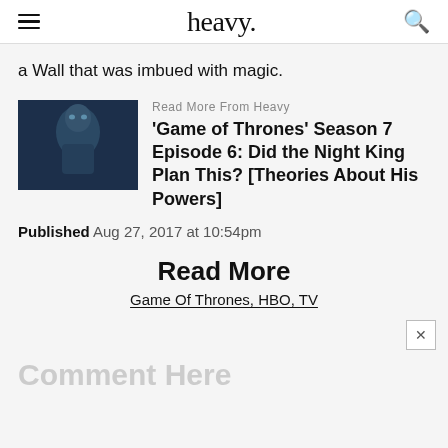heavy.
a Wall that was imbued with magic.
Read More From Heavy
'Game of Thrones' Season 7 Episode 6: Did the Night King Plan This? [Theories About His Powers]
Published Aug 27, 2017 at 10:54pm
Read More
Game Of Thrones, HBO, TV
Comment Here